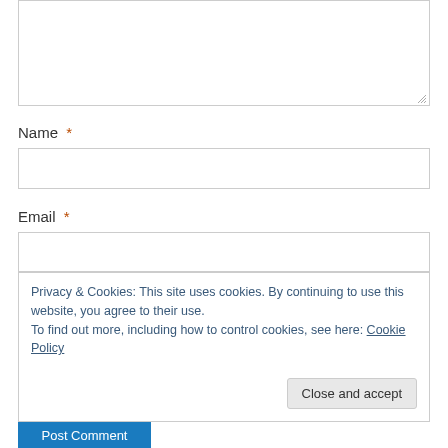[Figure (screenshot): Empty textarea input box with resize handle at bottom-right corner]
Name *
[Figure (screenshot): Empty text input box for Name field]
Email *
[Figure (screenshot): Empty text input box for Email field]
Privacy & Cookies: This site uses cookies. By continuing to use this website, you agree to their use.
To find out more, including how to control cookies, see here: Cookie Policy
Close and accept
Post Comment